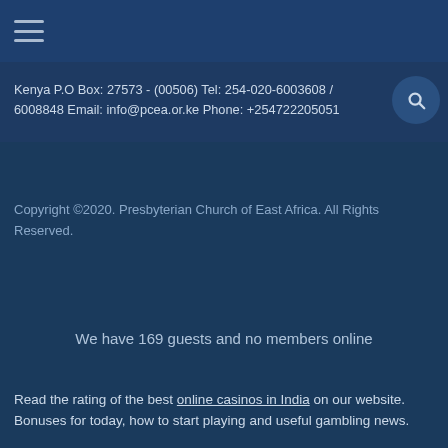≡ (hamburger menu)
Kenya P.O Box: 27573 - (00506) Tel: 254-020-6003608 / 6008848 Email: info@pcea.or.ke Phone: +254722205051
Copyright ©2020. Presbyterian Church of East Africa. All Rights Reserved.
We have 169 guests and no members online
Read the rating of the best online casinos in India on our website. Bonuses for today, how to start playing and useful gambling news.